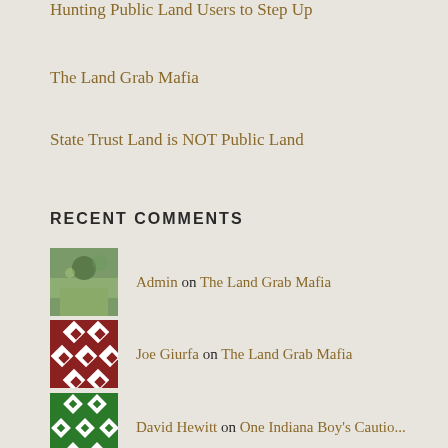Hunting Public Land Users to Step Up
The Land Grab Mafia
State Trust Land is NOT Public Land
RECENT COMMENTS
Admin on The Land Grab Mafia
Joe Giurfa on The Land Grab Mafia
David Hewitt on One Indiana Boy's Cautio...
Admin on High Time for Outdoor Recreati...
Admin on Colorado State Dog Leash ...